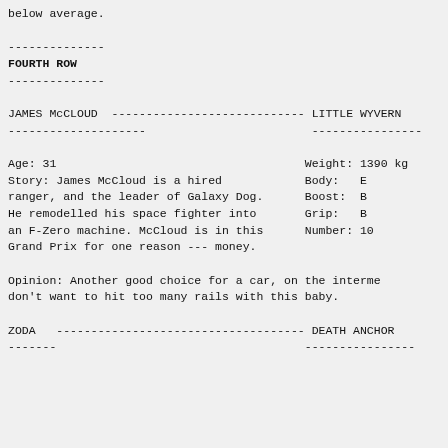below average.
FOURTH ROW
JAMES McCLOUD ---------------------------- LITTLE WYVERN
--------------------                       ----------------

Age: 31                                    Weight: 1390 kg
Story: James McCloud is a hired            Body:   E
ranger, and the leader of Galaxy Dog.      Boost:  B
He remodelled his space fighter into       Grip:   B
an F-Zero machine. McCloud is in this      Number: 10
Grand Prix for one reason --- money.

Opinion: Another good choice for a car, on the interme
don't want to hit too many rails with this baby.
ZODA   ------------------------------------ DEATH ANCHOR
-------                                    ----------------